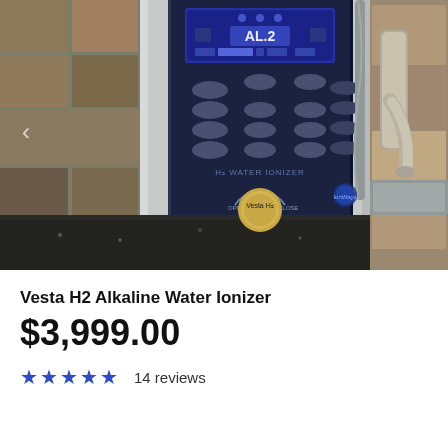[Figure (photo): Photo of Vesta H2 Alkaline Water Ionizer appliance on a granite countertop next to a kitchen faucet, with stone tile backsplash. The device is silver and navy blue with a digital display showing 'AL.2', multiple oval control buttons, and a gold-accented round dial/knob at the bottom labeled 'Vesta H2'.]
Vesta H2 Alkaline Water Ionizer
$3,999.00
★★★★★  14 reviews